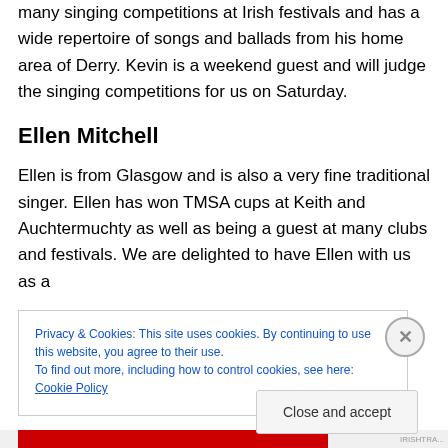many singing competitions at Irish festivals and has a wide repertoire of songs and ballads from his home area of Derry. Kevin is a weekend guest and will judge the singing competitions for us on Saturday.
Ellen Mitchell
Ellen is from Glasgow and is also a very fine traditional singer. Ellen has won TMSA cups at Keith and Auchtermuchty as well as being a guest at many clubs and festivals. We are delighted to have Ellen with us as a
Privacy & Cookies: This site uses cookies. By continuing to use this website, you agree to their use.
To find out more, including how to control cookies, see here: Cookie Policy
Close and accept